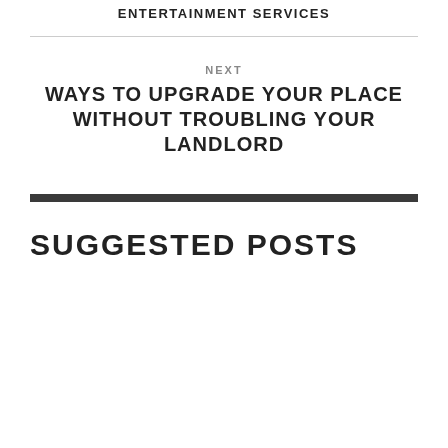ENTERTAINMENT SERVICES
NEXT
WAYS TO UPGRADE YOUR PLACE WITHOUT TROUBLING YOUR LANDLORD
SUGGESTED POSTS